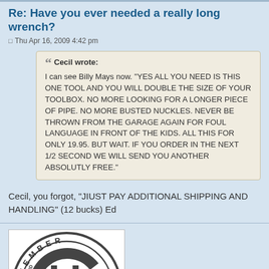Re: Have you ever needed a really long wrench?
Thu Apr 16, 2009 4:42 pm
Cecil wrote: I can see Billy Mays now. "YES ALL YOU NEED IS THIS ONE TOOL AND YOU WILL DOUBLE THE SIZE OF YOUR TOOLBOX. NO MORE LOOKING FOR A LONGER PIECE OF PIPE. NO MORE BUSTED NUCKLES. NEVER BE THROWN FROM THE GARAGE AGAIN FOR FOUL LANGUAGE IN FRONT OF THE KIDS. ALL THIS FOR ONLY 19.95. BUT WAIT. IF YOU ORDER IN THE NEXT 1/2 SECOND WE WILL SEND YOU ANOTHER ABSOLUTLY FREE."
Cecil, you forgot, "JIUST PAY ADDITIONAL SHIPPING AND HANDLING" (12 bucks) Ed
[Figure (logo): Circular logo/badge for Handtool Collectors with letters HC in the center]
Member of Chapter 18, and National
[Figure (logo): Red circular Cub badge/logo, partially visible at bottom]